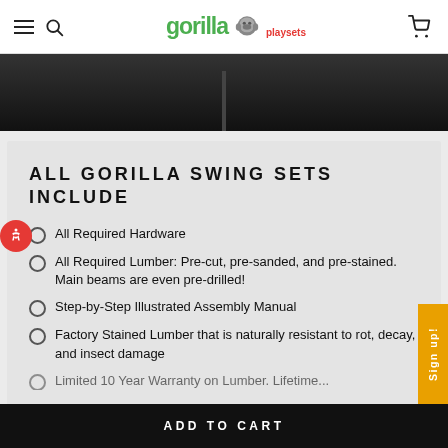gorilla playsets - navigation header with hamburger menu, search icon, logo, and cart icon
[Figure (photo): Dark product image strip showing a swing set detail against a dark background]
ALL GORILLA SWING SETS INCLUDE
All Required Hardware
All Required Lumber: Pre-cut, pre-sanded, and pre-stained. Main beams are even pre-drilled!
Step-by-Step Illustrated Assembly Manual
Factory Stained Lumber that is naturally resistant to rot, decay, and insect damage
Limited 10 Year Warranty on Lumber. Lifetime...